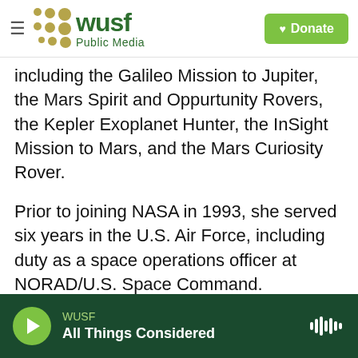WUSF Public Media | Donate
including the Galileo Mission to Jupiter, the Mars Spirit and Oppurtunity Rovers, the Kepler Exoplanet Hunter, the InSight Mission to Mars, and the Mars Curiosity Rover.
Prior to joining NASA in 1993, she served six years in the U.S. Air Force, including duty as a space operations officer at NORAD/U.S. Space Command.
Cox received her master's in Space Operations Systems Engineering from Air Force Institute of Technology, and two bachelor's in Engineering and Psychology from Cornell University.
WUSF
All Things Considered